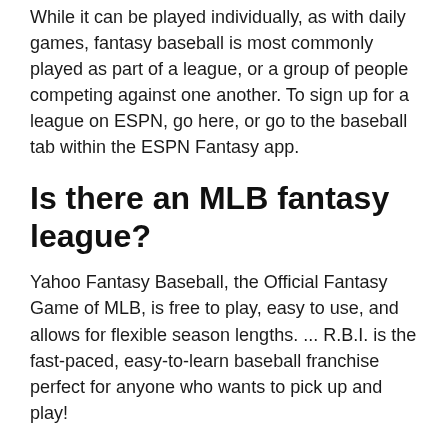While it can be played individually, as with daily games, fantasy baseball is most commonly played as part of a league, or a group of people competing against one another. To sign up for a league on ESPN, go here, or go to the baseball tab within the ESPN Fantasy app.
Is there an MLB fantasy league?
Yahoo Fantasy Baseball, the Official Fantasy Game of MLB, is free to play, easy to use, and allows for flexible season lengths. ... R.B.I. is the fast-paced, easy-to-learn baseball franchise perfect for anyone who wants to pick up and play!